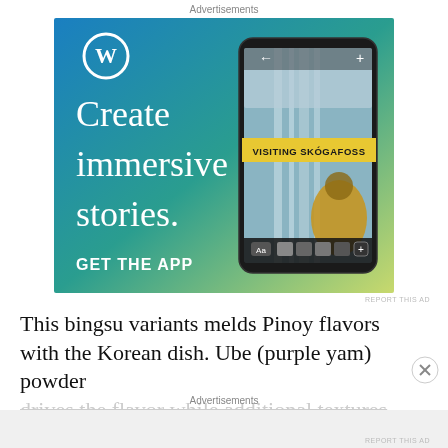Advertisements
[Figure (illustration): WordPress advertisement banner. Blue to yellow-green gradient background. WordPress logo (W in circle) top left. Large white serif text reads 'Create immersive stories.' on the left. Right side shows a smartphone displaying a nature/waterfall story with text 'VISITING SKÓGAFOSS'. Bottom left shows 'GET THE APP' in white bold text.]
REPORT THIS AD
This bingsu variants melds Pinoy flavors with the Korean dish. Ube (purple yam) powder drives the flavor while additional textures are
Advertisements
REPORT THIS AD